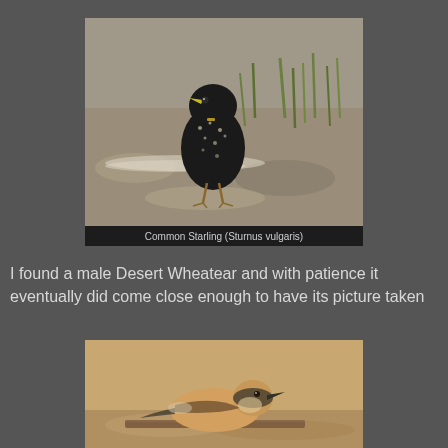[Figure (photo): Photograph of a Common Starling (Sturnus vulgaris) on sandy ground with grass, viewed from the front, with a dark caption bar below reading 'Common Starling (Sturnus vulgaris)']
I found a male Desert Wheatear and with patience it eventually did come close enough to have its picture taken
[Figure (photo): Photograph of a Desert Wheatear bird perched on sandy ground, showing tan/orange plumage with a dark head mask, partially visible at the bottom of the page]